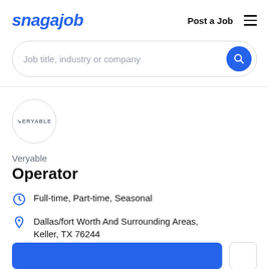snagajob  Post a Job  ☰
Job title, industry or company
[Figure (logo): Veryable company logo — circular badge with VERYABLE text]
Veryable
Operator
Full-time, Part-time, Seasonal
Dallas/fort Worth And Surrounding Areas, Keller, TX 76244